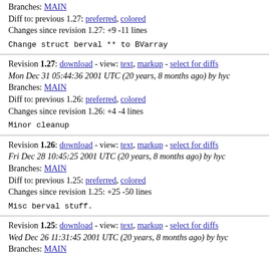Branches: MAIN
Diff to: previous 1.27: preferred, colored
Changes since revision 1.27: +9 -11 lines
Change struct berval ** to BVarray
Revision 1.27: download - view: text, markup - select for diffs
Mon Dec 31 05:44:36 2001 UTC (20 years, 8 months ago) by hyc
Branches: MAIN
Diff to: previous 1.26: preferred, colored
Changes since revision 1.26: +4 -4 lines
Minor cleanup
Revision 1.26: download - view: text, markup - select for diffs
Fri Dec 28 10:45:25 2001 UTC (20 years, 8 months ago) by hyc
Branches: MAIN
Diff to: previous 1.25: preferred, colored
Changes since revision 1.25: +25 -50 lines
Misc berval stuff.
Revision 1.25: download - view: text, markup - select for diffs
Wed Dec 26 11:31:45 2001 UTC (20 years, 8 months ago) by hyc
Branches: MAIN